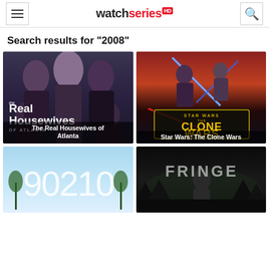watchseriesHD
Search results for "2008"
[Figure (photo): The Real Housewives of Atlanta show poster with cast members]
The Real Housewives of Atlanta
[Figure (photo): Star Wars: The Clone Wars animated show poster]
Star Wars: The Clone Wars
[Figure (photo): 90210 show poster with sky background]
[Figure (photo): Fringe show poster]